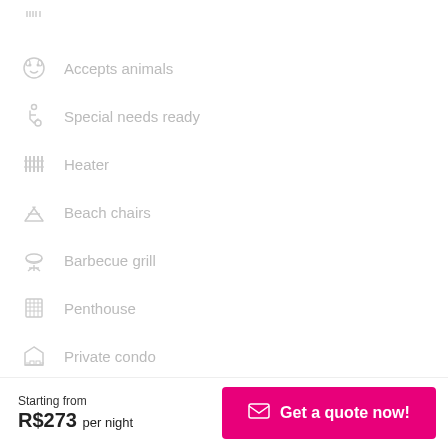Accepts animals
Special needs ready
Heater
Beach chairs
Barbecue grill
Penthouse
Private condo
Kitchen (checked)
Iron board
Stove
Starting from R$273 per night
Get a quote now!